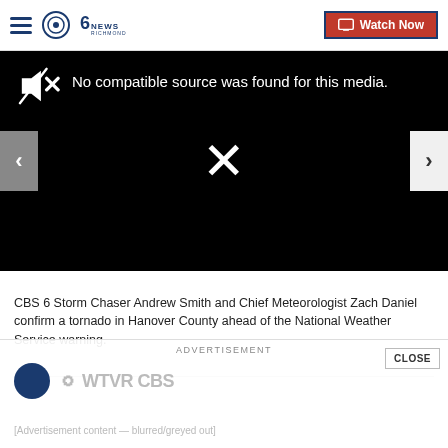CBS 6 News Richmond — Watch Now
[Figure (screenshot): Video player showing error: No compatible source was found for this media. Black background with muted speaker icon, large X in center, left and right navigation arrows.]
CBS 6 Storm Chaser Andrew Smith and Chief Meteorologist Zach Daniel confirm a tornado in Hanover County ahead of the National Weather Service warning.
ADVERTISEMENT
CLOSE
WTVR CBS 6 — [Advertisement content]